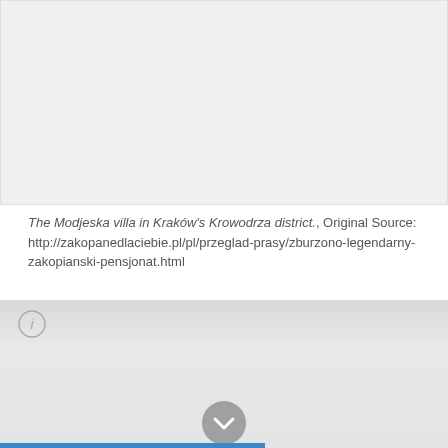[Figure (photo): Gray placeholder area representing an image of the Modjeska villa]
The Modjeska villa in Kraków's Krowodrza district., Original Source: http://zakopanedlaciebie.pl/pl/przeglad-prasy/zburzono-legendarny-zakopianski-pensjonat.html
Read more
[Figure (screenshot): Gray footer area with info icon circle, chevron down button, and blue bar at bottom]